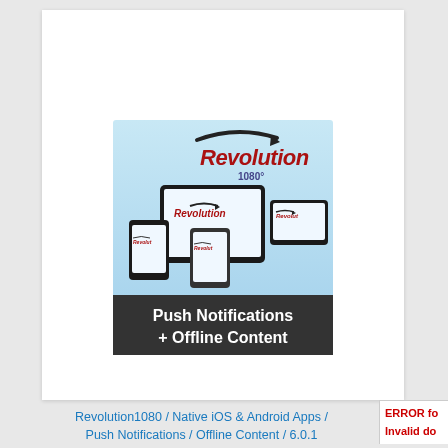[Figure (screenshot): Revolution1080 app promotional image showing tablet, smartphone and small device screens with the Revolution logo and the text 'Push Notifications + Offline Content' on a dark banner at the bottom]
Revolution1080 / Native iOS & Android Apps / Push Notifications / Offline Content / 6.0.1
ERROR fo Invalid do